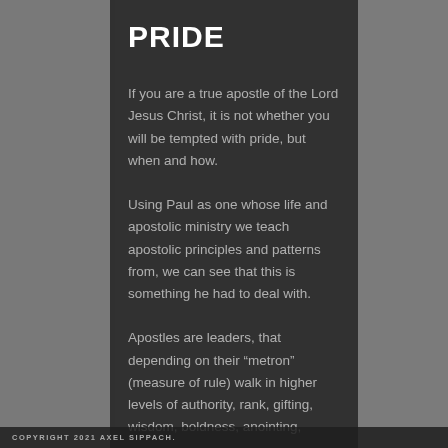PRIDE
If you are a true apostle of the Lord Jesus Christ, it is not whether you will be tempted with pride, but when and how.
Using Paul as one whose life and apostolic ministry we teach apostolic principles and patterns from, we can see that this is something he had to deal with.
Apostles are leaders, that depending on their “metron” (measure of rule) walk in higher levels of authority, rank, gifting, wisdom, boldness, anointing,
COPYRIGHT 2021 AXEL SIPPACH.